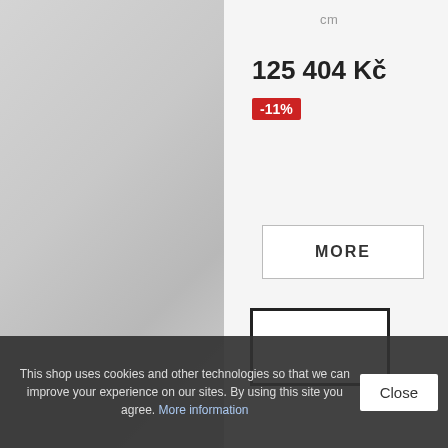[Figure (photo): Product photo of what appears to be a white bathtub or similar bathroom/home fixture, shown split across left and right panels with grey/white background]
cm
125 404 Kč
-11%
[Figure (other): Green 'ADD TO CART' button with gold star decorations on left and right sides]
MORE
[Figure (photo): Small thumbnail image of the product at the bottom right of the page]
This shop uses cookies and other technologies so that we can improve your experience on our sites. By using this site you agree. More information
Close